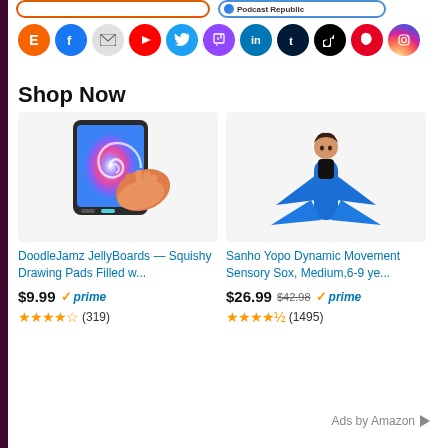[Figure (screenshot): Partial top buttons: orange-bordered button on left, blue-bordered Podcast Republic button on right]
[Figure (infographic): Row of social media icon circles: Etsy (orange E), Facebook, Email, YouTube, Twitter, Twitch, LinkedIn, Tumblr, TikTok, Pinterest, Instagram]
Shop Now
[Figure (photo): DoodleJamz JellyBoard tablet with tie-dye swirl screen and hand touching it]
DoodleJamz JellyBoards — Squishy Drawing Pads Filled w...
$9.99 ✓prime
★★★★☆ (319)
[Figure (photo): Person wearing blue Sanho Yopo Dynamic Movement Sensory Sox full-body wing suit]
Sanho Yopo Dynamic Movement Sensory Sox, Medium,6-9 ye...
$26.99 $42.98 ✓prime
★★★★½ (1495)
Ads by Amazon ▷